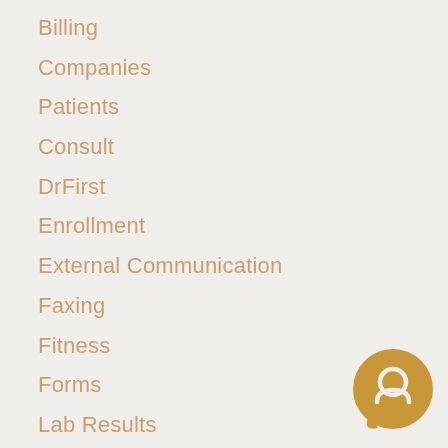Billing
Companies
Patients
Consult
DrFirst
Enrollment
External Communication
Faxing
Fitness
Forms
Lab Results
Labs
Patient Access iOS App
Phone Services
Prescriptions and Inventory
[Figure (logo): Chat bubble icon — circular brown/tan chat support logo in bottom-right corner]